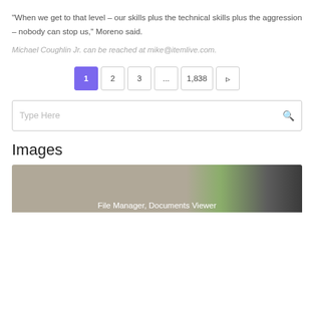“When we get to that level – our skills plus the technical skills plus the aggression – nobody can stop us,” Moreno said.
Michael Coughlin Jr. can be reached at mike@itemlive.com.
[Figure (other): Pagination control with buttons: 1 (active, purple), 2, 3, ..., 1,838, and a next arrow]
[Figure (screenshot): Search bar with placeholder text 'Type Here' and a search icon on the right]
Images
[Figure (photo): Partial image preview with text overlay 'File Manager, Documents Viewer']